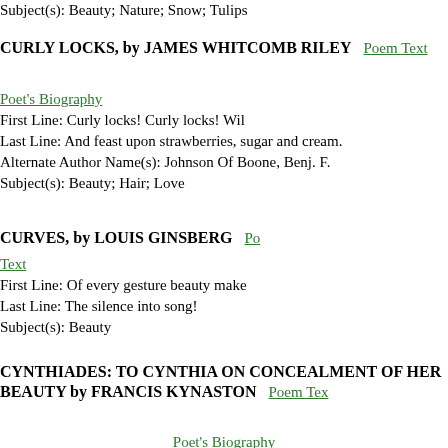Subject(s): Beauty; Nature; Snow; Tulips
CURLY LOCKS, by JAMES WHITCOMB RILEY
Poem Text  Poet's Biography
First Line: Curly locks! Curly locks! Wil
Last Line: And feast upon strawberries, sugar and cream.
Alternate Author Name(s): Johnson Of Boone, Benj. F.
Subject(s): Beauty; Hair; Love
CURVES, by LOUIS GINSBERG
Poem Text
First Line: Of every gesture beauty make
Last Line: The silence into song!
Subject(s): Beauty
CYNTHIADES: TO CYNTHIA ON CONCEALMENT OF HER BEAUTY by FRANCIS KYNASTON
Poem Text  Poet's Biography